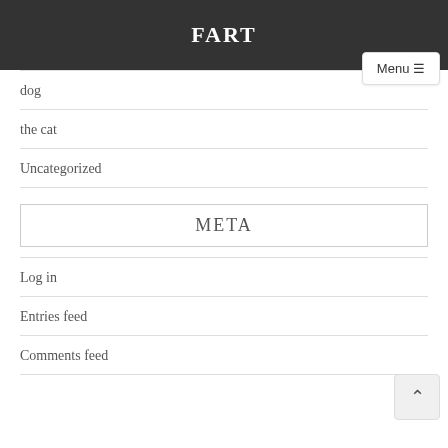FART
Menu ≡
dog
the cat
Uncategorized
META
Log in
Entries feed
Comments feed